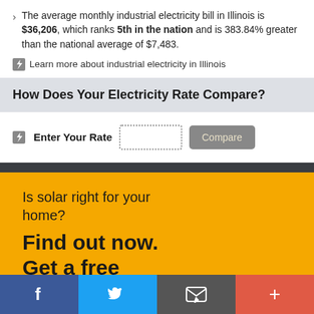The average monthly industrial electricity bill in Illinois is $36,206, which ranks 5th in the nation and is 383.84% greater than the national average of $7,483.
Learn more about industrial electricity in Illinois
How Does Your Electricity Rate Compare?
Enter Your Rate [input field] [Compare button]
Is solar right for your home? Find out now. Get a free quote.